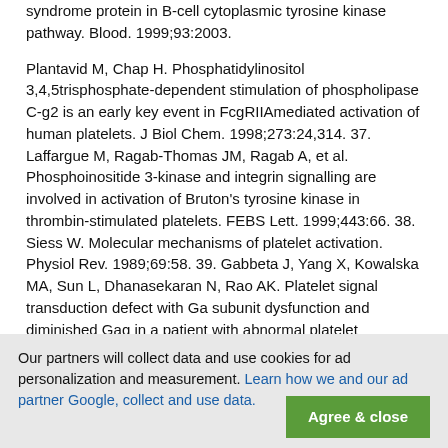syndrome protein in B-cell cytoplasmic tyrosine kinase pathway. Blood. 1999;93:2003.
Plantavid M, Chap H. Phosphatidylinositol 3,4,5trisphosphate-dependent stimulation of phospholipase C-g2 is an early key event in FcgRIIAmediated activation of human platelets. J Biol Chem. 1998;273:24,314. 37. Laffargue M, Ragab-Thomas JM, Ragab A, et al. Phosphoinositide 3-kinase and integrin signalling are involved in activation of Bruton's tyrosine kinase in thrombin-stimulated platelets. FEBS Lett. 1999;443:66. 38. Siess W. Molecular mechanisms of platelet activation. Physiol Rev. 1989;69:58. 39. Gabbeta J, Yang X, Kowalska MA, Sun L, Dhanasekaran N, Rao AK. Platelet signal transduction defect with Ga subunit dysfunction and diminished Gaq in a patient with abnormal platelet responses. Proc Natl Acad Sci U S A. 1997;94: 8750. 40. Offermanns S, Toombs CF, Hu YH, Simon MI. Defective platelet activation in G a(q)-deficient mice. Nature. 1997;389:183. 41. Miyakawa Y, Oda A, Druker BJ. Recombinant thrombopoietin induces rapid protein tyrosine phosphorylation of Janus kinase 2 and Shc in human blood platelets. Blood. 1995;9:837.
Our partners will collect data and use cookies for ad personalization and measurement. Learn how we and our ad partner Google, collect and use data.
Agree & close